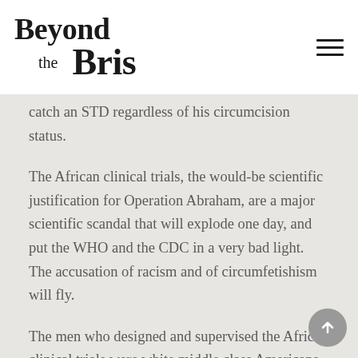Beyond the Bris
catch an STD regardless of his circumcision status.
The African clinical trials, the would-be scientific justification for Operation Abraham, are a major scientific scandal that will explode one day, and put the WHO and the CDC in a very bad light. The accusation of racism and of circumfetishism will fly.
The men who designed and supervised the African clinical trials were white middle class Americans, all circumcised, and totally convinced that the intact penis is